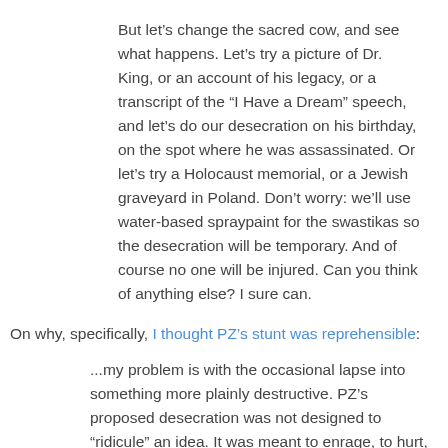But let’s change the sacred cow, and see what happens. Let’s try a picture of Dr. King, or an account of his legacy, or a transcript of the “I Have a Dream” speech, and let’s do our desecration on his birthday, on the spot where he was assassinated. Or let’s try a Holocaust memorial, or a Jewish graveyard in Poland. Don’t worry: we’ll use water-based spraypaint for the swastikas so the desecration will be temporary. And of course no one will be injured. Can you think of anything else? I sure can.
On why, specifically, I thought PZ’s stunt was reprehensible:
...my problem is with the occasional lapse into something more plainly destructive. PZ’s proposed desecration was not designed to “ricule” an idea. It was meant to enrage, to hurt, to do damage. It wasn’t merciless criticism. It was hate. It wasn’t aimed at an idea. It was aimed at Catholics. People.